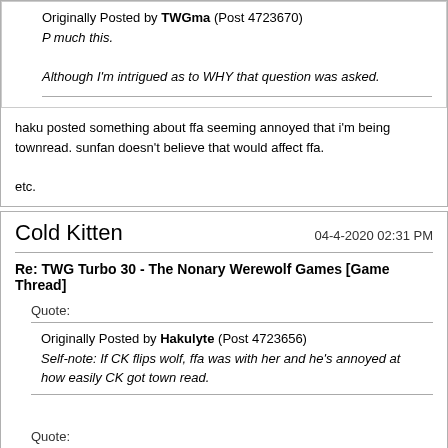Originally Posted by TWGma (Post 4723670)
P much this.

Although I'm intrigued as to WHY that question was asked.
haku posted something about ffa seeming annoyed that i'm being townread. sunfan doesn't believe that would affect ffa.

etc.
Cold Kitten
04-4-2020 02:31 PM
Re: TWG Turbo 30 - The Nonary Werewolf Games [Game Thread]
Quote:
Originally Posted by Hakulyte (Post 4723656)
Self-note: If CK flips wolf, ffa was with her and he's annoyed at how easily CK got town read.
Quote:
Originally Posted by the sun fan (Post 4723659)
lol